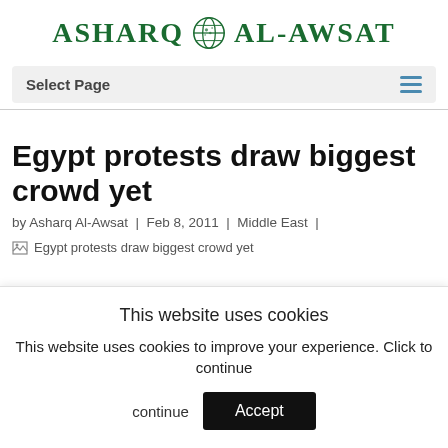[Figure (logo): Asharq Al-Awsat newspaper logo with globe icon in green]
Select Page
Egypt protests draw biggest crowd yet
by Asharq Al-Awsat | Feb 8, 2011 | Middle East |
[Figure (photo): Broken image placeholder for 'Egypt protests draw biggest crowd yet']
This website uses cookies
This website uses cookies to improve your experience. Click to continue
Accept